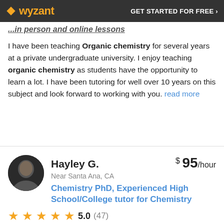Wyzant — GET STARTED FOR FREE ›
...in person and online lessons
I have been teaching Organic chemistry for several years at a private undergraduate university. I enjoy teaching organic chemistry as students have the opportunity to learn a lot. I have been tutoring for well over 10 years on this subject and look forward to working with you. read more
Hayley G. — $95/hour — Near Santa Ana, CA — Chemistry PhD, Experienced High School/College tutor for Chemistry — 5.0 (47) — 1 hours tutoring Organic Chemistry out of 171 hours — Offers in person lessons